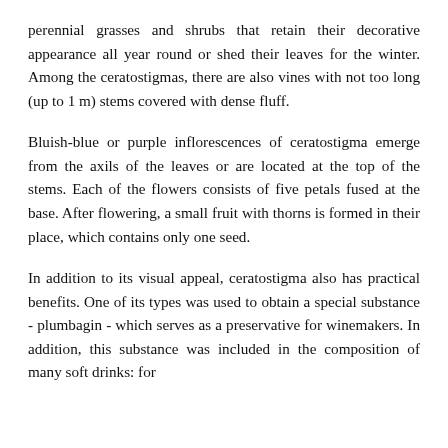perennial grasses and shrubs that retain their decorative appearance all year round or shed their leaves for the winter. Among the ceratostigmas, there are also vines with not too long (up to 1 m) stems covered with dense fluff.
Bluish-blue or purple inflorescences of ceratostigma emerge from the axils of the leaves or are located at the top of the stems. Each of the flowers consists of five petals fused at the base. After flowering, a small fruit with thorns is formed in their place, which contains only one seed.
In addition to its visual appeal, ceratostigma also has practical benefits. One of its types was used to obtain a special substance - plumbagin - which serves as a preservative for winemakers. In addition, this substance was included in the composition of many soft drinks: for